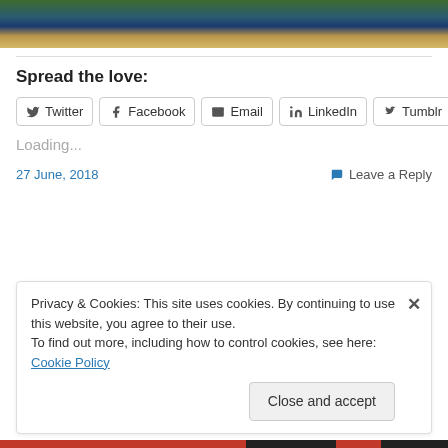[Figure (photo): Aerial/ground photo of a river or canal reflecting city lights at night with green embankment visible at top]
Spread the love:
Twitter | Facebook | Email | LinkedIn | Tumblr (share buttons)
Loading...
27 June, 2018
Leave a Reply
Privacy & Cookies: This site uses cookies. By continuing to use this website, you agree to their use.
To find out more, including how to control cookies, see here: Cookie Policy
Close and accept